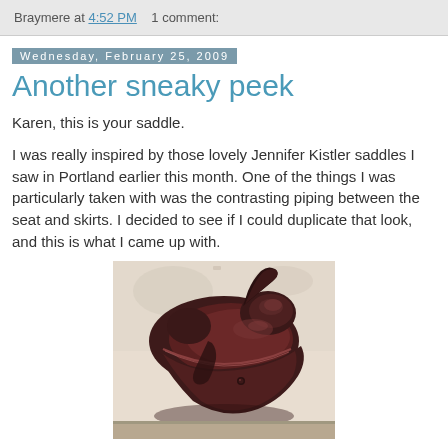Braymere at 4:52 PM    1 comment:
Wednesday, February 25, 2009
Another sneaky peek
Karen, this is your saddle.
I was really inspired by those lovely Jennifer Kistler saddles I saw in Portland earlier this month. One of the things I was particularly taken with was the contrasting piping between the seat and skirts. I decided to see if I could duplicate that look, and this is what I came up with.
[Figure (photo): A miniature horse saddle, dark brown/burgundy leather with contrasting piping between seat and skirts, photographed from above at an angle on a light background.]